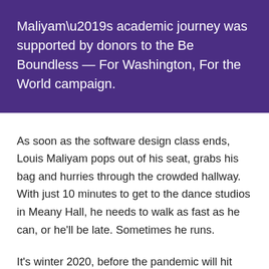Maliyam’s academic journey was supported by donors to the Be Boundless — For Washington, For the World campaign.
As soon as the software design class ends, Louis Maliyam pops out of his seat, grabs his bag and hurries through the crowded hallway. With just 10 minutes to get to the dance studios in Meany Hall, he needs to walk as fast as he can, or he’ll be late. Sometimes he runs.
It’s winter 2020, before the pandemic will hit